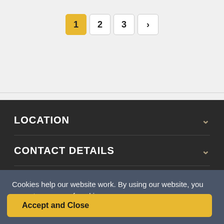[Figure (other): Pagination control with pages 1 (active/highlighted in yellow), 2, 3, and a next arrow button]
LOCATION
CONTACT DETAILS
CUSTOMER
Cookies help our website work. By using our website, you agree to our use of cookies.
Accept and Close